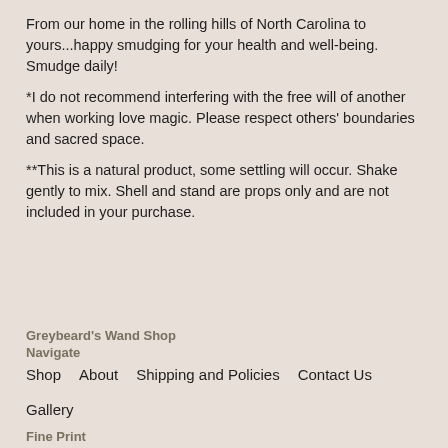From our home in the rolling hills of North Carolina to yours...happy smudging for your health and well-being. Smudge daily!
*I do not recommend interfering with the free will of another when working love magic. Please respect others' boundaries and sacred space.
**This is a natural product, some settling will occur. Shake gently to mix. Shell and stand are props only and are not included in your purchase.
Greybeard's Wand Shop
Navigate
Shop   About   Shipping and Policies   Contact Us   Gallery
Fine Print